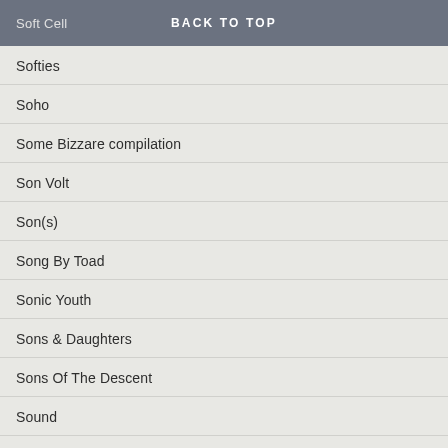Soft Cell | BACK TO TOP
Softies
Soho
Some Bizzare compilation
Son Volt
Son(s)
Song By Toad
Sonic Youth
Sons & Daughters
Sons Of The Descent
Sound
Sound Of Yell
Sounds Like Sunset